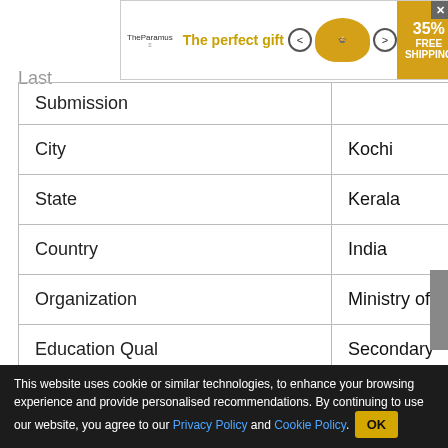[Figure (screenshot): Advertisement banner: 'The perfect gift' with food bowl image, 35% off and FREE SHIPPING promotion]
| Submission |  |
| City | Kochi |
| State | Kerala |
| Country | India |
| Organization | Ministry of Defence |
| Education Qual | Secondary |
| Functional | Administration |
RELATED STORIES
This website uses cookie or similar technologies, to enhance your browsing experience and provide personalised recommendations. By continuing to use our website, you agree to our Privacy Policy and Cookie Policy.